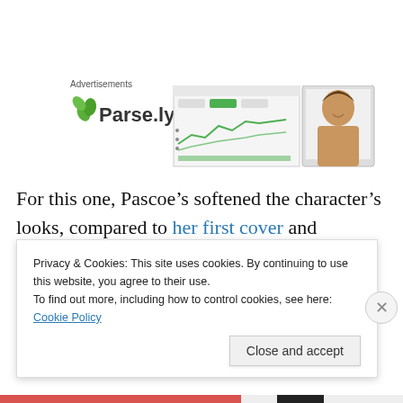Advertisements
[Figure (logo): Parse.ly logo with green leaf icon and bold text 'Parse.ly', alongside a screenshot mockup of the Parse.ly dashboard interface and a smiling woman with brown hair]
For this one, Pascoe’s softened the character’s looks, compared to her first cover and especially compared to the Elementals Force cover, where she appears to be th...
Privacy & Cookies: This site uses cookies. By continuing to use this website, you agree to their use.
To find out more, including how to control cookies, see here: Cookie Policy
Close and accept